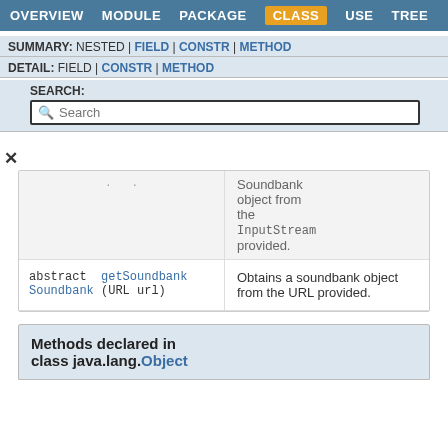OVERVIEW  MODULE  PACKAGE  CLASS  USE  TREE
SUMMARY: NESTED | FIELD | CONSTR | METHOD
DETAIL: FIELD | CONSTR | METHOD
SEARCH:
| Modifier and Type | Method |
| --- | --- |
| abstract  Soundbank | getSoundbank (URL url)  — Obtains a soundbank object from the URL provided. |
Methods declared in class java.lang.Object